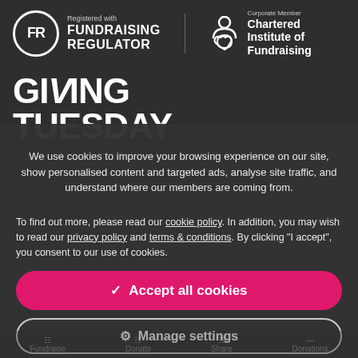[Figure (logo): Fundraising Regulator logo — FR in a circle with text 'Registered with FUNDRAISING REGULATOR']
[Figure (logo): Chartered Institute of Fundraising logo — heart/person icon with text 'Corporate Member Chartered Institute of Fundraising']
GIVING TUESDAY
We use cookies to improve your browsing experience on our site, show personalised content and targeted ads, analyse site traffic, and understand where our members are coming from.
To find out more, please read our cookie policy. In addition, you may wish to read our privacy policy and terms & conditions. By clicking "I accept", you consent to our use of cookies.
✓  Accept all cookies
⚙  Manage settings